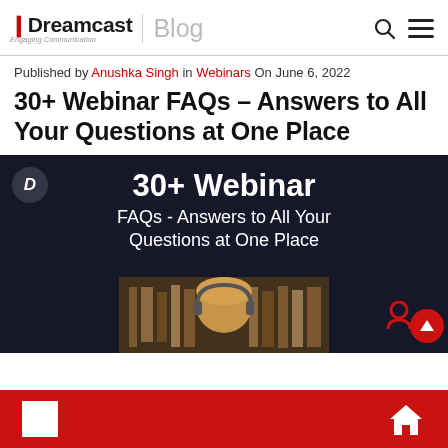Dreamcast Blog
Published by Anushka Singh in Webinars On June 6, 2022
30+ Webinar FAQs – Answers to All Your Questions at One Place
[Figure (photo): Dark banner with text '30+ Webinar FAQs - Answers to All Your Questions at One Place' and a photo of a woman with headphones in front of a bookshelf]